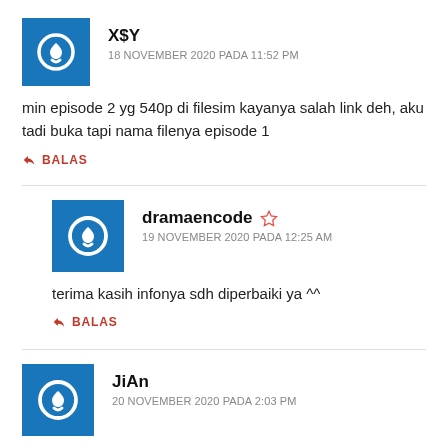X$Y
18 NOVEMBER 2020 PADA 11:52 PM
min episode 2 yg 540p di filesim kayanya salah link deh, aku tadi buka tapi nama filenya episode 1
BALAS
dramaencode
19 NOVEMBER 2020 PADA 12:25 AM
terima kasih infonya sdh diperbaiki ya ^^
BALAS
JiAn
20 NOVEMBER 2020 PADA 2:03 PM